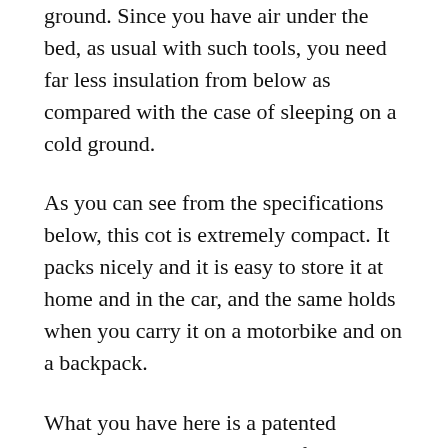ground. Since you have air under the bed, as usual with such tools, you need far less insulation from below as compared with the case of sleeping on a cold ground.
As you can see from the specifications below, this cot is extremely compact. It packs nicely and it is easy to store it at home and in the car, and the same holds when you carry it on a motorbike and on a backpack.
What you have here is a patented BowFrame Technology. The frame is designed to eliminate painful crossbars and squeaky joints. Anodized aluminum is used for poles and durable nylon is used for feet. The sleeping surface is s breathable fabric that allows for excellent